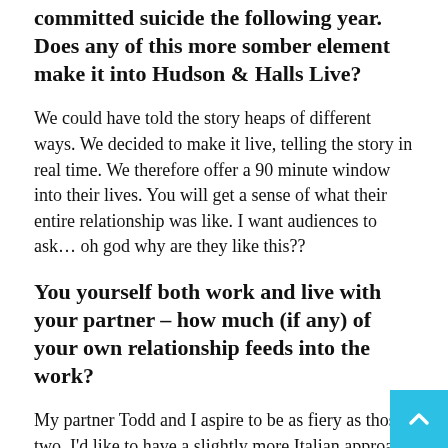committed suicide the following year. Does any of this more somber element make it into Hudson & Halls Live?
We could have told the story heaps of different ways. We decided to make it live, telling the story in real time. We therefore offer a 90 minute window into their lives. You will get a sense of what their entire relationship was like. I want audiences to ask… oh god why are they like this??
You yourself both work and live with your partner – how much (if any) of your own relationship feeds into the work?
My partner Todd and I aspire to be as fiery as those two. I'd like to have a slightly more Italian approach to our relationship. They really just loved one another. No matter whether they were trying to kill each other or flirt with each other – they were totally obsessed with one another. I'd love for our relationship